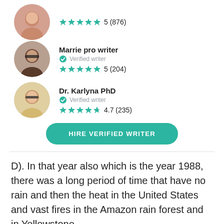[Figure (illustration): Circular avatar photo of a woman (partially visible at top)]
★★★★★ 5 (876)
[Figure (photo): Circular avatar photo of Marrie pro writer, a woman with glasses]
Marrie pro writer
✔ Verified writer
★★★★★ 5 (204)
[Figure (photo): Circular avatar photo of Dr. Karlyna PhD, a woman with glasses and blonde hair]
Dr. Karlyna PhD
✔ Verified writer
★★★★☆ 4.7 (235)
HIRE VERIFIED WRITER
D). In that year also which is the year 1988, there was a long period of time that have no rain and then the heat in the United States and vast fires in the Amazon rain forest and in Yellowstone